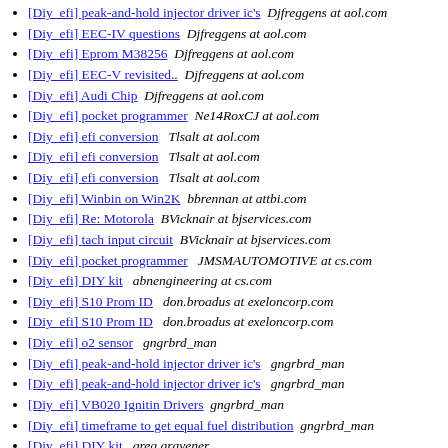[Diy_efi] peak-and-hold injector driver ic's  Djfreggens at aol.com
[Diy_efi] EEC-IV questions  Djfreggens at aol.com
[Diy_efi] Eprom M38256  Djfreggens at aol.com
[Diy_efi] EEC-V revisited..  Djfreggens at aol.com
[Diy_efi] Audi Chip  Djfreggens at aol.com
[Diy_efi] pocket programmer  Ne14RoxCJ at aol.com
[Diy_efi] efi conversion  Tlsalt at aol.com
[Diy_efi] efi conversion  Tlsalt at aol.com
[Diy_efi] efi conversion  Tlsalt at aol.com
[Diy_efi] Winbin on Win2K  bbrennan at attbi.com
[Diy_efi] Re: Motorola  BVicknair at bjservices.com
[Diy_efi] tach input circuit  BVicknair at bjservices.com
[Diy_efi] pocket programmer  JMSMAUTOMOTIVE at cs.com
[Diy_efi] DIY kit  abnengineering at cs.com
[Diy_efi] S10 Prom ID  don.broadus at exeloncorp.com
[Diy_efi] S10 Prom ID  don.broadus at exeloncorp.com
[Diy_efi] o2 sensor  gngrbrd_man
[Diy_efi] peak-and-hold injector driver ic's  gngrbrd_man
[Diy_efi] peak-and-hold injector driver ic's  gngrbrd_man
[Diy_efi] VB020 Ignitin Drivers  gngrbrd_man
[Diy_efi] timeframe to get equal fuel distribution  gngrbrd_man
[Diy_efi] DIY kit  greg gravener